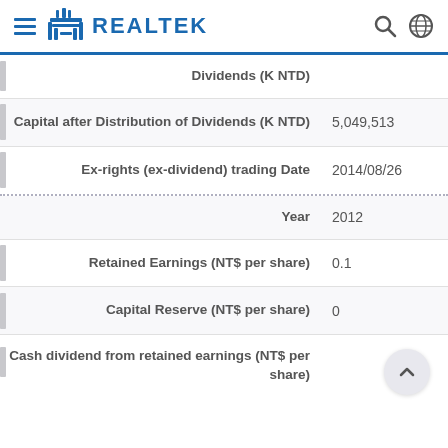Realtek
| Field | Value |
| --- | --- |
| Dividends (K NTD) |  |
| Capital after Distribution of Dividends (K NTD) | 5,049,513 |
| Ex-rights (ex-dividend) trading Date | 2014/08/26 |
| Year | 2012 |
| Retained Earnings (NT$ per share) | 0.1 |
| Capital Reserve (NT$ per share) | 0 |
| Cash dividend from retained earnings (NT$ per share) |  |